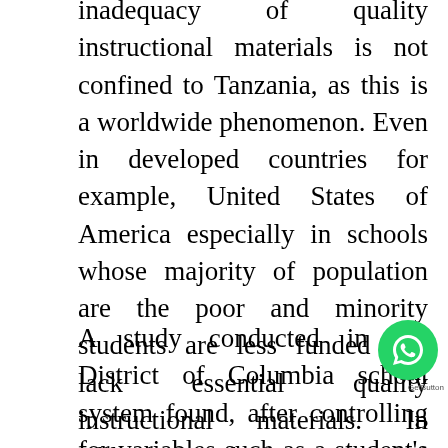inadequacy of quality instructional materials is not confined to Tanzania, as this is a worldwide phenomenon. Even in developed countries for example, United States of America especially in schools whose majority of population are the poor and minority students are less funded and lack essential quality instructional materials. In addition, policies associated with school funding, resource allocations, and tracking leave minority students with fewer and lower-quality books, curriculum materials, laboratories, and computers (Post and Darling, 2000).
A study conducted in the District of Columbia school system found, after controlling for variables such as a student's socioeconomic status, that students' examination results were lower in